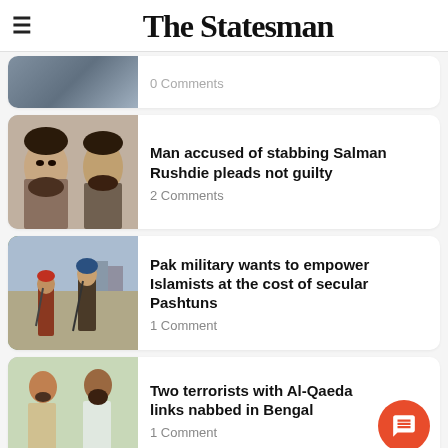The Statesman
[Figure (photo): Partial thumbnail of an aerial/satellite image, partially cut off at top]
0 Comments
[Figure (photo): Mugshot-style photo of a man from front and side profile]
Man accused of stabbing Salman Rushdie pleads not guilty
2 Comments
[Figure (photo): Photo of armed soldiers/fighters standing on a street]
Pak military wants to empower Islamists at the cost of secular Pashtuns
1 Comment
[Figure (photo): Photos of two men standing against a light background]
Two terrorists with Al-Qaeda links nabbed in Bengal
1 Comment